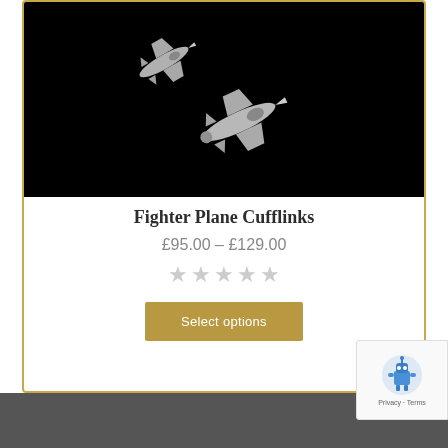[Figure (photo): Two silver/pewter fighter plane cufflinks on a black background, photographed from above at an angle.]
Fighter Plane Cufflinks
£95.00 – £129.00
[Figure (other): Five empty/unfilled star rating icons in grey, indicating no reviews yet.]
Select options
[Figure (logo): reCAPTCHA badge showing the reCAPTCHA robot icon with Privacy and Terms text below.]